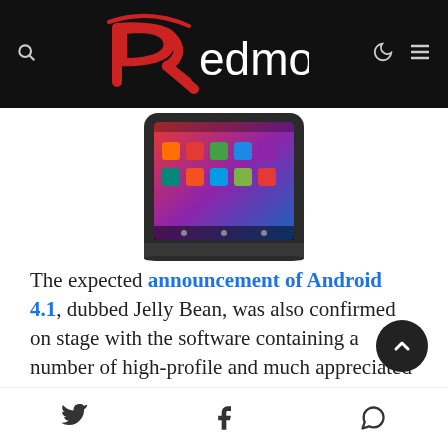Redmond Pie
[Figure (photo): Android tablet device (Nexus 7) showing home screen with app icons, photographed at an angle]
The expected announcement of Android 4.1, dubbed Jelly Bean, was also confirmed on stage with the software containing a number of high-profile and much appreciated improvements, such as a more fluent and jitter-free experience at 60 FPS, a better onscreen keyboard, and last but not the least, support for offline voice typing. Small visual changes were also discussed in the home screen department, Android Beam is a whole lot better now with the
Twitter, Facebook, WhatsApp share icons